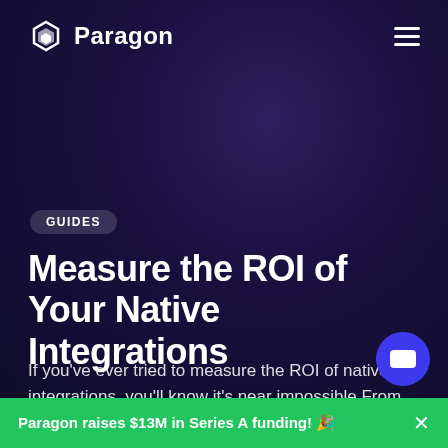Paragon
GUIDES
Measure the ROI of Your Native Integrations
If you've ever tried to measure the ROI of native integrations, you'll know it's near impossible.From retention rates to sales close rates, from the feedback in customer success calls to running i...
Paragon raises $13M in Series A funding! 🎉